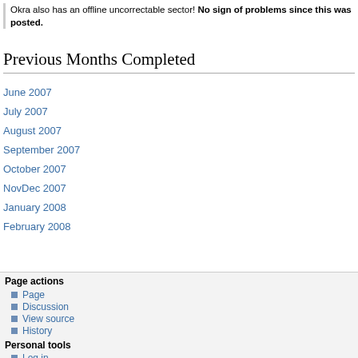Okra also has an offline uncorrectable sector! No sign of problems since this was posted.
Previous Months Completed
June 2007
July 2007
August 2007
September 2007
October 2007
NovDec 2007
January 2008
February 2008
Page actions
Page
Discussion
View source
History
Personal tools
Log in